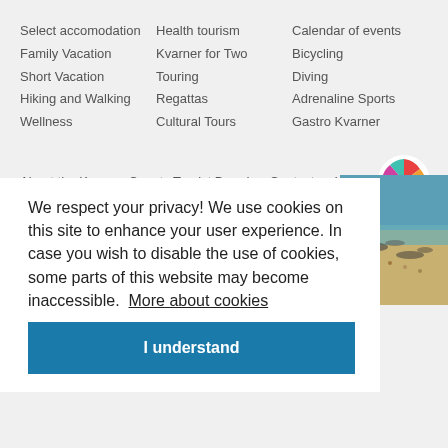Select accomodation
Family Vacation
Short Vacation
Hiking and Walking
Wellness
Health tourism
Kvarner for Two
Touring
Regattas
Cultural Tours
Calendar of events
Bicycling
Diving
Adrenaline Sports
Gastro Kvarner
About the Kvarner County Tourist Board   Contact   Legal notes
[Figure (logo): Colorful pinwheel/windmill logo of Kvarner tourist board]
[Figure (photo): Aerial view of beach with boats and people]
We respect your privacy! We use cookies on this site to enhance your user experience. In case you wish to disable the use of cookies, some parts of this website may become inaccessible.  More about cookies
I understand